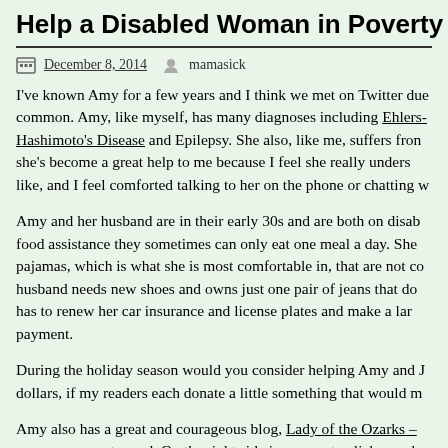Help a Disabled Woman in Poverty This Holi
December 8, 2014  mamasick
I've known Amy for a few years and I think we met on Twitter due common. Amy, like myself, has many diagnoses including Ehlers- Hashimoto's Disease and Epilepsy. She also, like me, suffers fron she's become a great help to me because I feel she really unders like, and I feel comforted talking to her on the phone or chatting w
Amy and her husband are in their early 30s and are both on disab food assistance they sometimes can only eat one meal a day. She pajamas, which is what she is most comfortable in, that are not co husband needs new shoes and owns just one pair of jeans that do has to renew her car insurance and license plates and make a lar payment.
During the holiday season would you consider helping Amy and J dollars, if my readers each donate a little something that would m
Amy also has a great and courageous blog, Lady of the Ozarks – encourage you to read. On the right side is an area to click on wh to her.